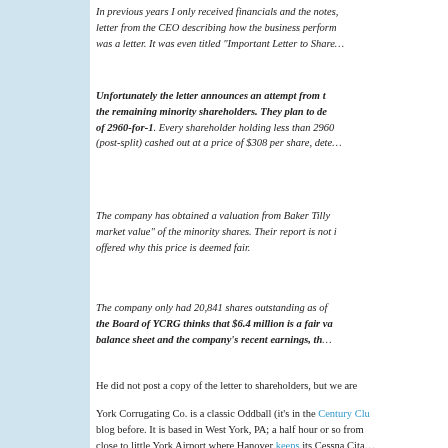In previous years I only received financials and the notes, letter from the CEO describing how the business perform was a letter. It was even titled "Important Letter to Share.
Unfortunately the letter announces an attempt from the remaining minority shareholders. They plan to do of 2960-for-1. Every shareholder holding less than 2960 (post-split) cashed out at a price of $308 per share, dete
The company has obtained a valuation from Baker Tilly market value" of the minority shares. Their report is not i offered why this price is deemed fair.
The company only had 20,841 shares outstanding as of the Board of YCRG thinks that $6.4 million is a fair va balance sheet and the company's recent earnings, th
He did not post a copy of the letter to shareholders, but we are
York Corrugating Co. is a classic Oddball (it's in the Century Club blog before. It is based in West York, PA; a half hour or so from close to little York Airport where Hanover keeps its Cessna Cita
Whatever is in the water in southeastern Pennsylvania does no shareholders. In fact, in looking for case law on squeeze-outs,